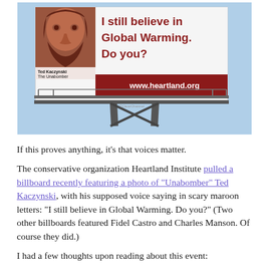[Figure (photo): A billboard featuring a photo of Ted Kaczynski (The Unabomber) with text reading 'I still believe in Global Warming. Do you?' and 'www.heartland.org' in a red banner at the bottom. The billboard is mounted on a metal structure against a blue sky.]
If this proves anything, it’s that voices matter.
The conservative organization Heartland Institute pulled a billboard recently featuring a photo of “Unabomber” Ted Kaczynski, with his supposed voice saying in scary maroon letters: “I still believe in Global Warming. Do you?” (Two other billboards featured Fidel Castro and Charles Manson. Of course they did.)
I had a few thoughts upon reading about this event: